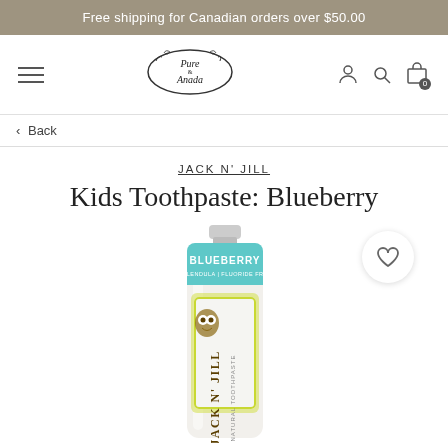Free shipping for Canadian orders over $50.00
[Figure (logo): Pure Anada brand logo — oval shaped with decorative script text reading 'Pure & Anada']
‹ Back
JACK N' JILL
Kids Toothpaste: Blueberry
[Figure (photo): Jack N' Jill Kids Blueberry Natural Toothpaste tube — white tube with teal 'BLUEBERRY' text, 'Calendula | Fluoride Free' subtitle, illustrated owl character, and 'Jack N' Jill Natural Toothpaste' branding in yellow-green label design]